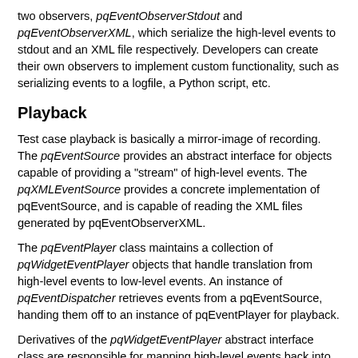two observers, pqEventObserverStdout and pqEventObserverXML, which serialize the high-level events to stdout and an XML file respectively. Developers can create their own observers to implement custom functionality, such as serializing events to a logfile, a Python script, etc.
Playback
Test case playback is basically a mirror-image of recording. The pqEventSource provides an abstract interface for objects capable of providing a "stream" of high-level events. The pqXMLEventSource provides a concrete implementation of pqEventSource, and is capable of reading the XML files generated by pqEventObserverXML.
The pqEventPlayer class maintains a collection of pqWidgetEventPlayer objects that handle translation from high-level events to low-level events. An instance of pqEventDispatcher retrieves events from a pqEventSource, handing them off to an instance of pqEventPlayer for playback.
Derivatives of the pqWidgetEventPlayer abstract interface class are responsible for mapping high-level events back into low-level Qt events (or direct widget manipulation). Note that there is not a one-to-one correspondence between pqWidgetEventTranslator and pqWidgetEventPlayer classes - a single pqAbstractIntEventPlayer object is capable of handling events generated by both pqSpinBoxEventTranslator and pqAbstractSliderEventTranslator, because the two translators map dissimilar Qt events into a single, abstract "set_int" event.